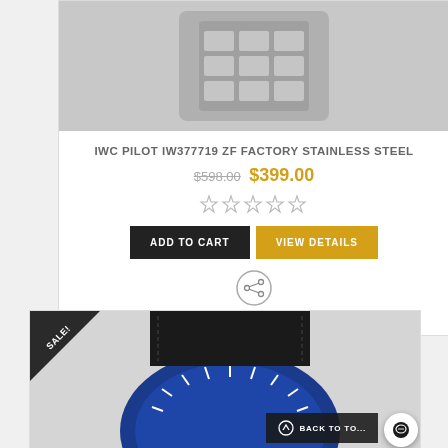[Figure (photo): Close-up photo of a stainless steel watch bracelet/case top portion]
IWC PILOT IW377719 ZF FACTORY STAINLESS STEEL
$598.00 $399.00
[Figure (other): Five empty star rating icons]
ADD TO CART
VIEW DETAILS
[Figure (other): Share icon circle with network/share symbol]
SHARE IT
[Figure (photo): Close-up of a watch with blue dial and black leather strap with SALE! badge in top-left corner]
BACK TO TO...